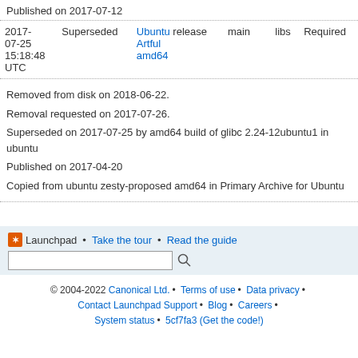Published on 2017-07-12
| Date | Status | URL | Release | Component | Section | Priority |
| --- | --- | --- | --- | --- | --- | --- |
| 2017-07-25 15:18:48 UTC | Superseded | Ubuntu Artful amd64 | release | main | libs | Required |
Removed from disk on 2018-06-22.
Removal requested on 2017-07-26.
Superseded on 2017-07-25 by amd64 build of glibc 2.24-12ubuntu1 in ubuntu
Published on 2017-04-20
Copied from ubuntu zesty-proposed amd64 in Primary Archive for Ubuntu
Launchpad • Take the tour • Read the guide
© 2004-2022 Canonical Ltd. • Terms of use • Data privacy • Contact Launchpad Support • Blog • Careers • System status • 5cf7fa3 (Get the code!)